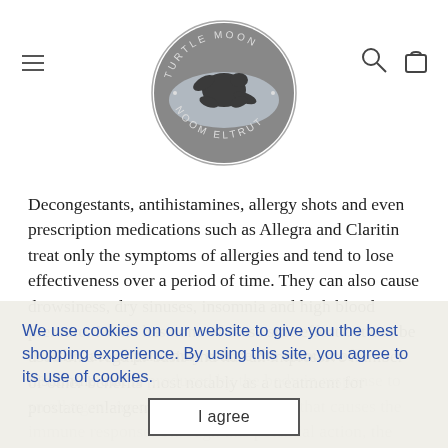[Figure (logo): Turtle Moon circular logo with a sea turtle silhouette and text around the border]
Decongestants, antihistamines, allergy shots and even prescription medications such as Allegra and Claritin treat only the symptoms of allergies and tend to lose effectiveness over a period of time. They can also cause drowsiness, dry sinuses, insomnia and high blood pressure. Nettle has none of these side effects. It can be used on a regular basis and has an impressive number of other benefits most notably as a treatment for prostate enlargement.
Nettle's aerial parts may reduce the amount of histamine that is produced by the body in response to an allergen. An allergen is a substance that causes the immune response.  Through this potential action, the aerial parts of nettle may help to reduce allergy symptoms. Results from one human study are promising, but more research is needed to be conclusive.
We use cookies on our website to give you the best shopping experience. By using this site, you agree to its use of cookies.